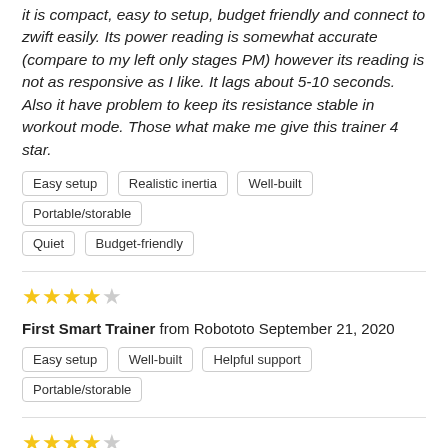it is compact, easy to setup, budget friendly and connect to zwift easily. Its power reading is somewhat accurate (compare to my left only stages PM) however its reading is not as responsive as I like. It lags about 5-10 seconds. Also it have problem to keep its resistance stable in workout mode. Those what make me give this trainer 4 star.
Easy setup
Realistic inertia
Well-built
Portable/storable
Quiet
Budget-friendly
★★★★☆
First Smart Trainer from Robototo September 21, 2020
Easy setup
Well-built
Helpful support
Portable/storable
★★★★☆